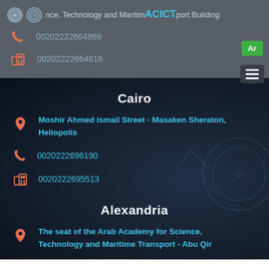ACICT - Arab Academy for Science, Technology and Maritime Transport Building
00202222664869
00202222664816
Cairo
Moshir Ahmed Ismail Street - Masaken Sheraton, Heliopolis
0020222696190
0020222695513
Alexandria
The seat of the Arab Academy for Science, Technology and Maritime Transport - Abu Qir